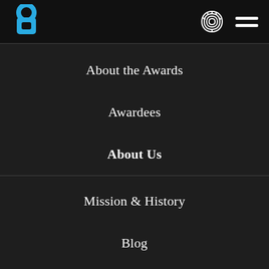[Figure (logo): Blue abstract logo mark on black header bar]
[Figure (illustration): White fingerprint/thumbprint icon on black header bar]
[Figure (illustration): White hamburger menu icon (three horizontal lines) on black header bar]
About the Awards
Awardees
About Us
Mission & History
Blog
Events